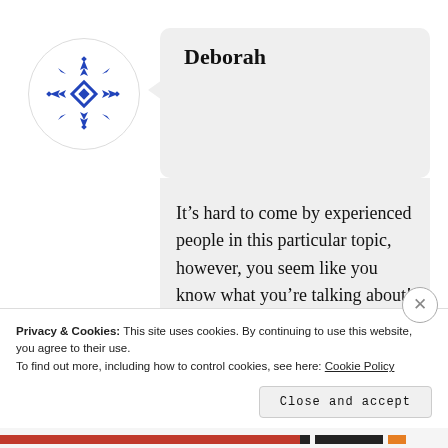[Figure (logo): Blue decorative geometric snowflake/cross pattern avatar icon in a white circle]
Deborah
It’s hard to come by experienced people in this particular topic, however, you seem like you know what you’re talking about! Thanks
Privacy & Cookies: This site uses cookies. By continuing to use this website, you agree to their use.
To find out more, including how to control cookies, see here: Cookie Policy
Close and accept